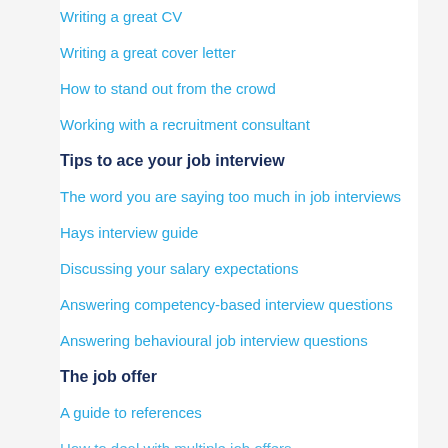Writing a great CV
Writing a great cover letter
How to stand out from the crowd
Working with a recruitment consultant
Tips to ace your job interview
The word you are saying too much in job interviews
Hays interview guide
Discussing your salary expectations
Answering competency-based interview questions
Answering behavioural job interview questions
The job offer
A guide to references
How to deal with multiple job offers